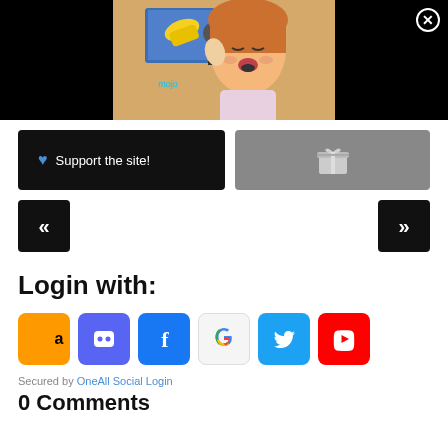[Figure (screenshot): Anime girl singing into a microphone with yellow bottle, mojo logo visible, on black background video thumbnail with close button]
Support the site!
[Figure (other): Gray gift/reward button]
«
»
Login with:
[Figure (other): Social login icons: Amazon, Discord, Facebook, Google, Twitter, YouTube]
Secured by OneAll Social Login
0 Comments